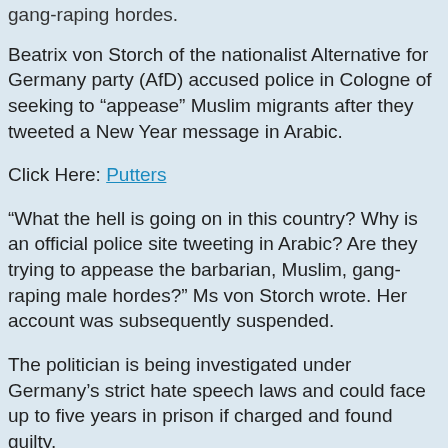gang-raping hordes.
Beatrix von Storch of the nationalist Alternative for Germany party (AfD) accused police in Cologne of seeking to “appease” Muslim migrants after they tweeted a New Year message in Arabic.
Click Here: Putters
“What the hell is going on in this country? Why is an official police site tweeting in Arabic? Are they trying to appease the barbarian, Muslim, gang-raping male hordes?” Ms von Storch wrote. Her account was subsequently suspended.
The politician is being investigated under Germany’s strict hate speech laws and could face up to five years in prison if charged and found guilty.
Cologne police said their New Year message contained a list to give better understanding of information and had d...